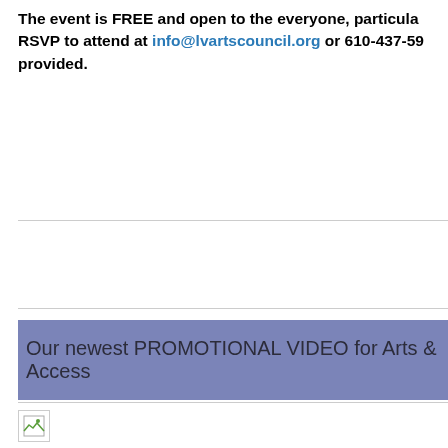The event is FREE and open to the everyone, particularly RSVP to attend at info@lvartscouncil.org or 610-437-59 provided.
Our newest PROMOTIONAL VIDEO for Arts & Access
[Figure (photo): Broken image placeholder icon]